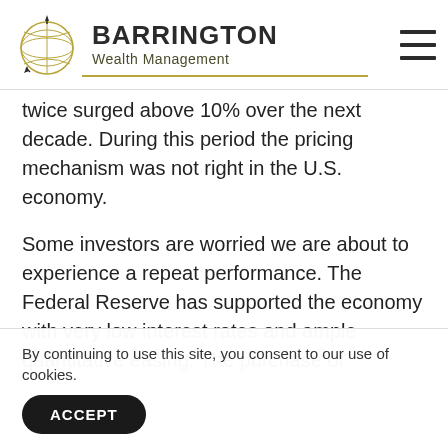[Figure (logo): Barrington Wealth Management logo with globe icon and company name]
twice surged above 10% over the next decade. During this period the pricing mechanism was not right in the U.S. economy.
Some investors are worried we are about to experience a repeat performance. The Federal Reserve has supported the economy with very low interest rates and ample quantitative easing. The purchase of g... fe... th...
By continuing to use this site, you consent to our use of cookies.